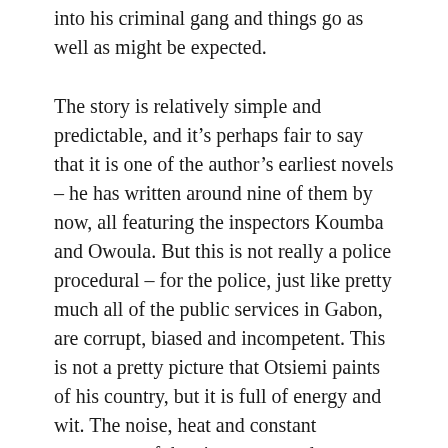into his criminal gang and things go as well as might be expected.
The story is relatively simple and predictable, and it’s perhaps fair to say that it is one of the author’s earliest novels – he has written around nine of them by now, all featuring the inspectors Koumba and Owoula. But this is not really a police procedural – for the police, just like pretty much all of the public services in Gabon, are corrupt, biased and incompetent. This is not a pretty picture that Otsiemi paints of his country, but it is full of energy and wit. The noise, heat and constant movement of the city streets and marketplaces really come to life.
I also loved the examples of non-standard French being used throughout (some of them explained in footnotes, others perfectly comprehensible but making me smile in the body of the text). For